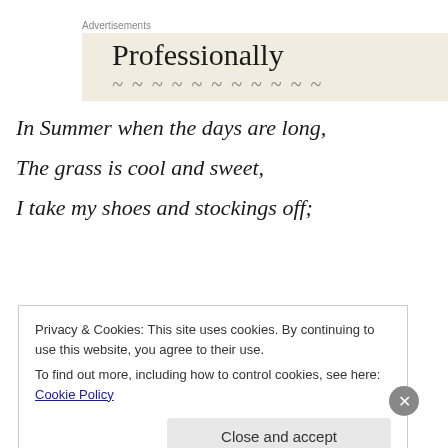Advertisements
[Figure (illustration): Advertisement banner with beige/cream background showing the word 'Professionally' in large serif font with partial decorative text below]
In Summer when the days are long,
The grass is cool and sweet,
I take my shoes and stockings off;
Privacy & Cookies: This site uses cookies. By continuing to use this website, you agree to their use.
To find out more, including how to control cookies, see here: Cookie Policy